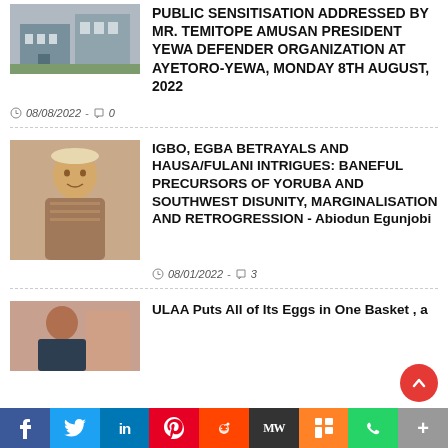PUBLIC SENSITISATION ADDRESSED BY MR. TEMITOPE AMUSAN PRESIDENT YEWA DEFENDER ORGANIZATION AT AYETORO-YEWA, MONDAY 8TH AUGUST, 2022
08/08/2022 - 0
IGBO, EGBA BETRAYALS AND HAUSA/FULANI INTRIGUES: BANEFUL PRECURSORS OF YORUBA AND SOUTHWEST DISUNITY, MARGINALISATION AND RETROGRESSION - Abiodun Egunjobi
08/01/2022 - 3
ULAA Puts All of Its Eggs in One Basket , a
f  Twitter  in  P  Reddit  MW  Mix  WhatsApp  More